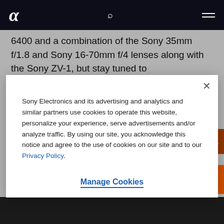Sony Alpha Universe — header with logo, search, and menu
6400 and a combination of the Sony 35mm f/1.8 and Sony 16-70mm f/4 lenses along with the Sony ZV-1, but stay tuned to AlphaUniverse.com for an in-depth look at his gear.
Sony Electronics and its advertising and analytics and similar partners use cookies to operate this website, personalize your experience, serve advertisements and/or analyze traffic. By using our site, you acknowledge this notice and agree to the use of cookies on our site and to our Privacy Policy.
Manage Cookies